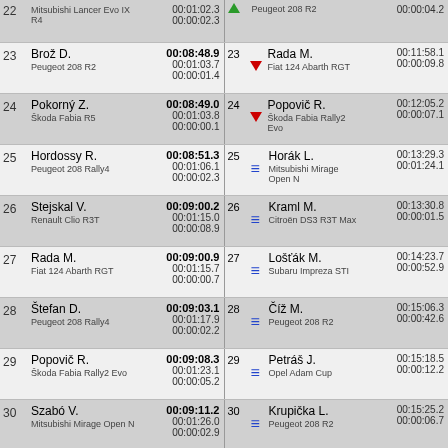| Pos | Driver/Car | Time | Pos | Ind | Driver/Car | Time |
| --- | --- | --- | --- | --- | --- | --- |
| 22 | Mitsubishi Lancer Evo IX R4 | 00:01:02.3 / 00:00:02.3 | 22 | ↑ | Peugeot 208 R2 | 00:00:04.2 |
| 23 | Brož D. / Peugeot 208 R2 | 00:08:48.9 / 00:01:03.7 / 00:00:01.4 | 23 | ↓ | Rada M. / Fiat 124 Abarth RGT | 00:11:58.1 / 00:00:09.8 |
| 24 | Pokorný Z. / Škoda Fabia R5 | 00:08:49.0 / 00:01:03.8 / 00:00:00.1 | 24 | ↓ | Popovič R. / Škoda Fabia Rally2 Evo | 00:12:05.2 / 00:00:07.1 |
| 25 | Hordossy R. / Peugeot 208 Rally4 | 00:08:51.3 / 00:01:06.1 / 00:00:02.3 | 25 | = | Horák L. / Mitsubishi Mirage Open N | 00:13:29.3 / 00:01:24.1 |
| 26 | Stejskal V. / Renault Clio R3T | 00:09:00.2 / 00:01:15.0 / 00:00:08.9 | 26 | = | Kraml M. / Citroën DS3 R3T Max | 00:13:30.8 / 00:00:01.5 |
| 27 | Rada M. / Fiat 124 Abarth RGT | 00:09:00.9 / 00:01:15.7 / 00:00:00.7 | 27 | = | Lošťák M. / Subaru Impreza STI | 00:14:23.7 / 00:00:52.9 |
| 28 | Štefan D. / Peugeot 208 Rally4 | 00:09:03.1 / 00:01:17.9 / 00:00:02.2 | 28 | = | Číž M. / Peugeot 208 R2 | 00:15:06.3 / 00:00:42.6 |
| 29 | Popovič R. / Škoda Fabia Rally2 Evo | 00:09:08.3 / 00:01:23.1 / 00:00:05.2 | 29 | = | Petráš J. / Opel Adam Cup | 00:15:18.5 / 00:00:12.2 |
| 30 | Szabó V. / Mitsubishi Mirage Open N | 00:09:11.2 / 00:01:26.0 / 00:00:02.9 | 30 | = | Krupička L. / Peugeot 208 R2 | 00:15:25.2 / 00:00:06.7 |